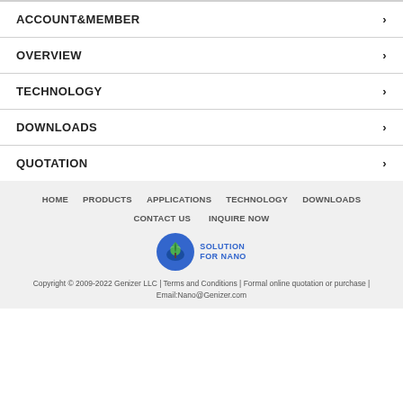ACCOUNT&MEMBER
OVERVIEW
TECHNOLOGY
DOWNLOADS
QUOTATION
HOME | PRODUCTS | APPLICATIONS | TECHNOLOGY | DOWNLOADS | CONTACT US | INQUIRE NOW
[Figure (logo): Genizer LLC logo — blue circle with tree icon and SOLUTION FOR NANO text]
Copyright © 2009-2022 Genizer LLC | Terms and Conditions | Formal online quotation or purchase | Email:Nano@Genizer.com